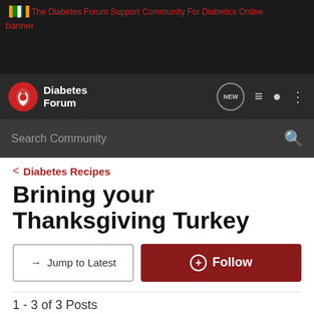[Figure (screenshot): Website banner showing Indian flag colors and text: The Diabetes Forum Support Community For Diabetics Online banner]
[Figure (logo): Diabetes Forum logo with red circle icon and navigation icons including NEW badge, list icon, user icon, and menu icon]
[Figure (screenshot): Search Community search bar]
Diabetes Recipes
Brining your Thanksgiving Turkey
Jump to Latest
Follow
1 - 3 of 3 Posts
Bugg · Registered
Joined Jan 11, 2011 · 461 Posts